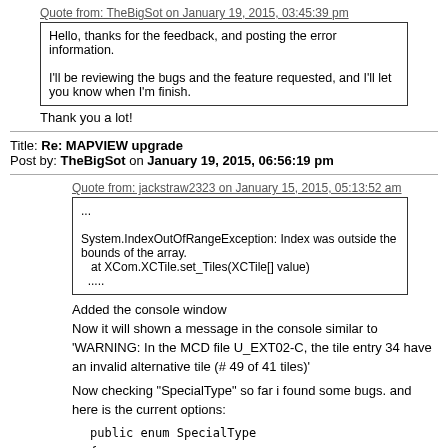Quote from: TheBigSot on January 19, 2015, 03:45:39 pm
Hello, thanks for the feedback, and posting the error information.

I'll be reviewing the bugs and the feature requested, and I'll let you know when I'm finish.
Thank you a lot!
Title: Re: MAPVIEW upgrade
Post by: TheBigSot on January 19, 2015, 06:56:19 pm
Quote from: jackstraw2323 on January 15, 2015, 05:13:52 am
...

System.IndexOutOfRangeException: Index was outside the bounds of the array.
   at XCom.XCTile.set_Tiles(XCTile[] value)
  .....
Added the console window
Now it will shown a message in the console similar to 'WARNING: In the MCD file U_EXT02-C, the tile entry 34 have an invalid alternative tile (# 49 of 41 tiles)'
Now checking "SpecialType" so far i found some bugs. and here is the current options:
public enum SpecialType
{
    Tile = 0,
    StartPoint,
    IonBeamAccel,